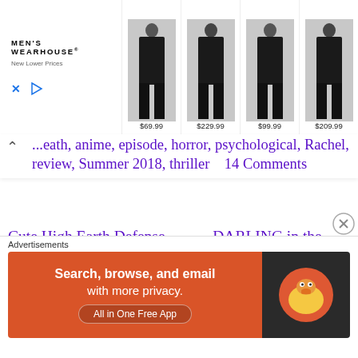[Figure (screenshot): Men's Wearhouse advertisement banner showing brand logo with 'New Lower Prices' tagline and four men in suits with prices $69.99, $229.99, $99.99, $209.99]
...eath, anime, episode, horror, psychological, Rachel, review, Summer 2018, thriller   14 Comments
Cute High Earth Defense Club Happy Kiss Episode 12: Another Cash Grab Ends
DARLING in the FRANXX Series Review: The Shambles of Mish-Mashed Narrative
[Figure (screenshot): Advertisements label with DuckDuckGo ad: 'Search, browse, and email with more privacy. All in One Free App' on orange background with DuckDuckGo duck logo on dark background]